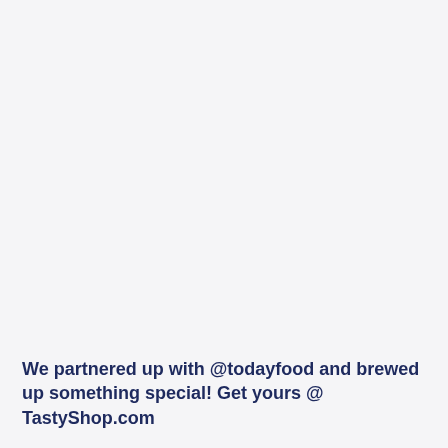We partnered up with @todayfood and brewed up something special! Get yours @ TastyShop.com